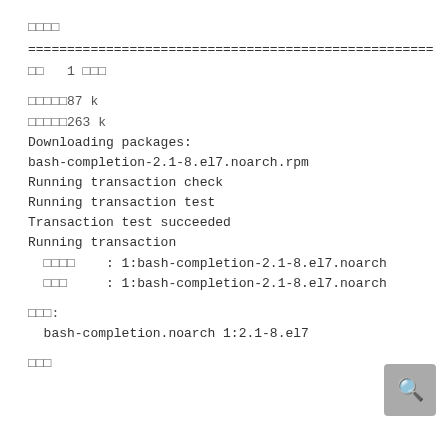□□□□
====================================================
□□   1 □□□
□□□□□87 k
□□□□□263 k
Downloading packages:
bash-completion-2.1-8.el7.noarch.rpm
Running transaction check
Running transaction test
Transaction test succeeded
Running transaction
  □□□□    : 1:bash-completion-2.1-8.el7.noarch
  □□□     : 1:bash-completion-2.1-8.el7.noarch
□□□:
  bash-completion.noarch 1:2.1-8.el7
□□□